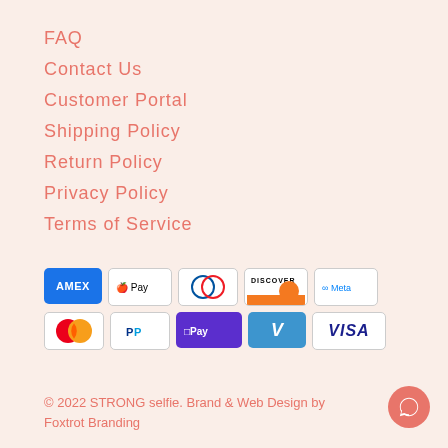FAQ
Contact Us
Customer Portal
Shipping Policy
Return Policy
Privacy Policy
Terms of Service
[Figure (infographic): Payment method icons: American Express, Apple Pay, Diners Club, Discover, Meta Pay, Mastercard, PayPal, Shop Pay, Venmo, Visa]
© 2022 STRONG selfie. Brand & Web Design by Foxtrot Branding